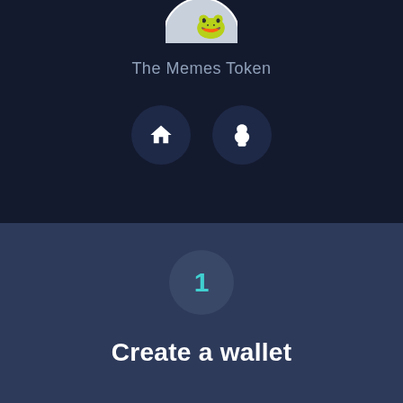[Figure (logo): Partial circular logo image at the top, appears to be The Memes Token logo, partially cropped]
The Memes Token
[Figure (infographic): Two circular dark icon buttons: a house/home icon and a poop emoji icon]
[Figure (infographic): Step indicator circle with number 1 in teal/cyan color]
Create a wallet